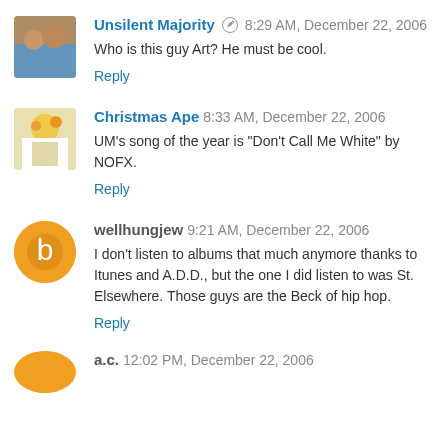Unsilent Majority · 8:29 AM, December 22, 2006
Who is this guy Art? He must be cool.
Reply
Christmas Ape · 8:33 AM, December 22, 2006
UM's song of the year is "Don't Call Me White" by NOFX.
Reply
wellhungjew · 9:21 AM, December 22, 2006
I don't listen to albums that much anymore thanks to Itunes and A.D.D., but the one I did listen to was St. Elsewhere. Those guys are the Beck of hip hop.
Reply
a.c. · 12:02 PM, December 22, 2006